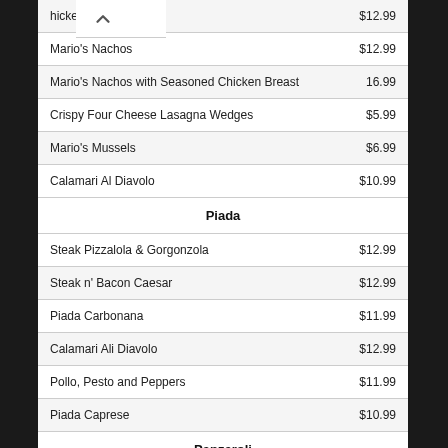| Item | Price |
| --- | --- |
| Chicken Wings | $12.99 |
| Mario's Nachos | $12.99 |
| Mario's Nachos with Seasoned Chicken Breast | 16.99 |
| Crispy Four Cheese Lasagna Wedges | $5.99 |
| Mario's Mussels | $6.99 |
| Calamari Al Diavolo | $10.99 |
| Piada |  |
| Steak Pizzalola & Gorgonzola | $12.99 |
| Steak n' Bacon Caesar | $12.99 |
| Piada Carbonana | $11.99 |
| Calamari Ali Diavolo | $12.99 |
| Pollo, Pesto and Peppers | $11.99 |
| Piada Caprese | $10.99 |
| Panzeroli |  |
| Canadian | $10.99 |